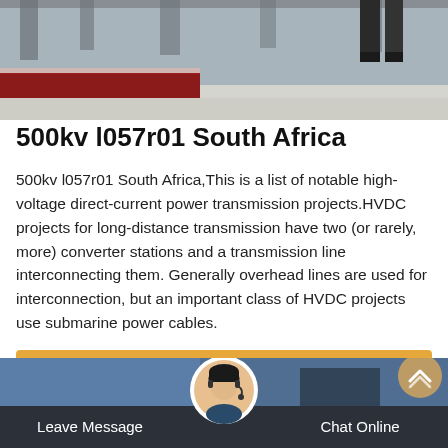[Figure (photo): Outdoor winter scene showing a red structure or barrier partially covered in snow, with a person's legs visible in the upper right corner against a snowy ground background.]
500kv l057r01 South Africa
500kv l057r01 South Africa,This is a list of notable high-voltage direct-current power transmission projects.HVDC projects for long-distance transmission have two (or rarely, more) converter stations and a transmission line interconnecting them. Generally overhead lines are used for interconnection, but an important class of HVDC projects use submarine power cables.
Get Price
[Figure (photo): Website footer banner showing a customer service representative avatar in a circular photo wearing a headset, a dark bottom bar with 'Leave Message' on the left and 'Chat Online' on the right, and a scroll-to-top button in the upper right.]